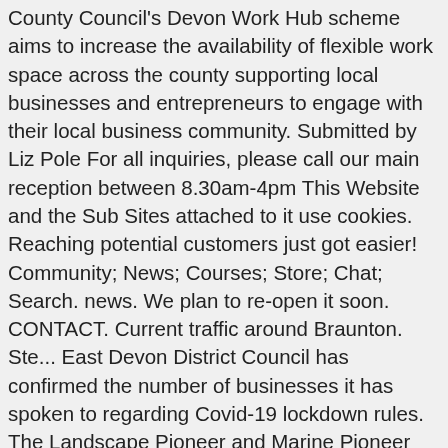County Council's Devon Work Hub scheme aims to increase the availability of flexible work space across the county supporting local businesses and entrepreneurs to engage with their local business community. Submitted by Liz Pole For all inquiries, please call our main reception between 8.30am-4pm This Website and the Sub Sites attached to it use cookies. Reaching potential customers just got easier! Community; News; Courses; Store; Chat; Search. news. We plan to re-open it soon. CONTACT. Current traffic around Braunton. Ste... East Devon District Council has confirmed the number of businesses it has spoken to regarding Covid-19 lockdown rules. The Landscape Pioneer and Marine Pioneer and our partners at WWF-UK are encouraging filmmakers to bid for two series of films that help people to understand the connection between our coast, rivers and sea and how important it is to us. latest news. She was married to Robert Bevens. Braunton is a large village in the South West of England situated 5 miles west of Barnstaple and 2 miles from the Braunton Burrows and Saunton Sands Beach. This category only includes cookies that ensures basic functionalities